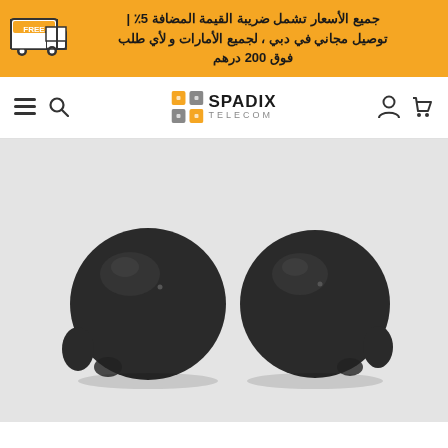جميع الأسعار تشمل ضريبة القيمة المضافة 5٪ | توصيل مجاني في دبي ، لجميع الأمارات و لأي طلب فوق 200 درهم
[Figure (logo): Spadix Telecom logo with mosaic icon]
[Figure (photo): Two black Samsung Galaxy Buds2 wireless earbuds on light grey background]